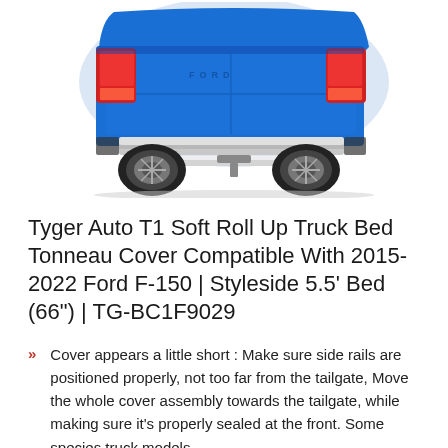[Figure (photo): Rear view of a blue Ford F-150 pickup truck showing the truck bed, tailgate with chrome bumper step, and tail lights on a white background.]
Tyger Auto T1 Soft Roll Up Truck Bed Tonneau Cover Compatible With 2015-2022 Ford F-150 | Styleside 5.5' Bed (66") | TG-BC1F9029
Cover appears a little short : Make sure side rails are positioned properly, not too far from the tailgate, Move the whole cover assembly towards the tailgate, while making sure it's properly sealed at the front. Some species truck models